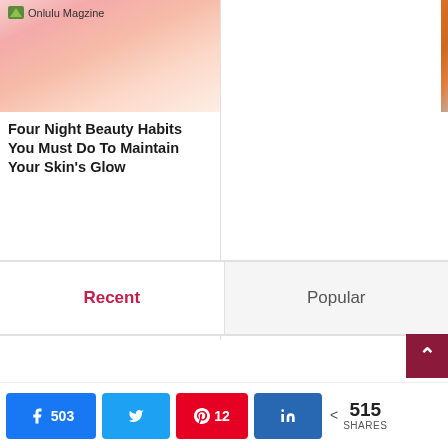Onlulu Magzine
[Figure (photo): Photo of a woman touching her face, skin care beauty theme]
Four Night Beauty Habits You Must Do To Maintain Your Skin’s Glow
[Figure (photo): Photo related to critical illness insurance document with person in orange top]
Factors to Consider before Buying Critical Illness Insurance
Recent
Popular
< 515 SHARES
503
12